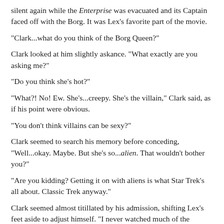silent again while the Enterprise was evacuated and its Captain faced off with the Borg. It was Lex's favorite part of the movie.
"Clark...what do you think of the Borg Queen?"
Clark looked at him slightly askance. "What exactly are you asking me?"
"Do you think she's hot?"
"What?! No! Ew. She's...creepy. She's the villain," Clark said, as if his point were obvious.
"You don't think villains can be sexy?"
Clark seemed to search his memory before conceding, "Well...okay. Maybe. But she's so...alien. That wouldn't bother you?"
"Are you kidding? Getting it on with aliens is what Star Trek's all about. Classic Trek anyway."
Clark seemed almost titillated by his admission, shifting Lex's feet aside to adjust himself. "I never watched much of the original series."